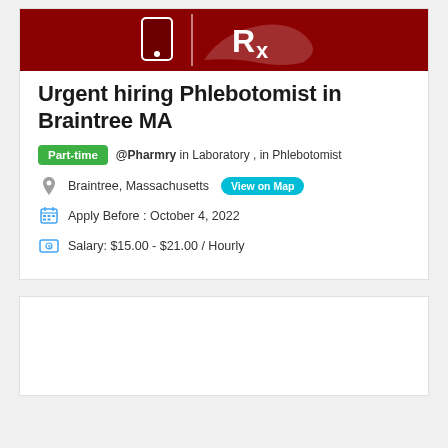[Figure (logo): Pharmry logo on dark red/maroon background, showing a stylized hand holding a prescription Rx symbol]
Urgent hiring Phlebotomist in Braintree MA
Part-time  @Pharmry in Laboratory , in Phlebotomist
Braintree, Massachusetts  View on Map
Apply Before : October 4, 2022
Salary: $15.00 - $21.00 / Hourly